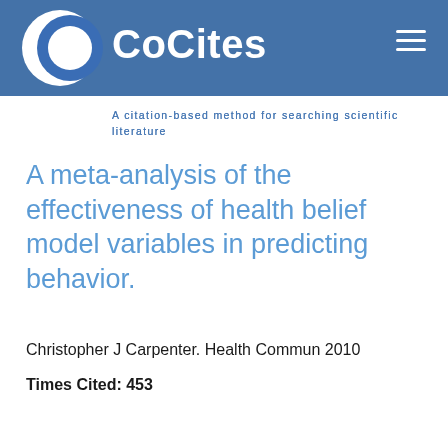CoCites — A citation-based method for searching scientific literature
A meta-analysis of the effectiveness of health belief model variables in predicting behavior.
Christopher J Carpenter. Health Commun 2010
Times Cited: 453